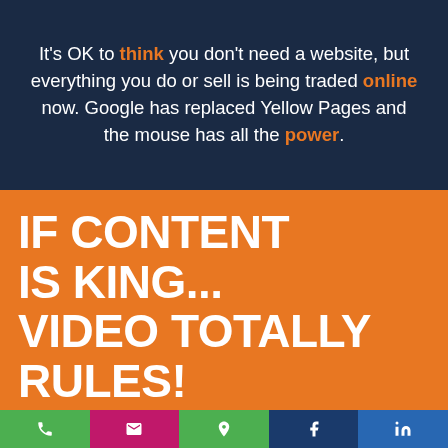It's OK to think you don't need a website, but everything you do or sell is being traded online now. Google has replaced Yellow Pages and the mouse has all the power.
IF CONTENT IS KING... VIDEO TOTALLY RULES!
YouTube is now the second largest search engine on the planet. It's bigger than Bing.